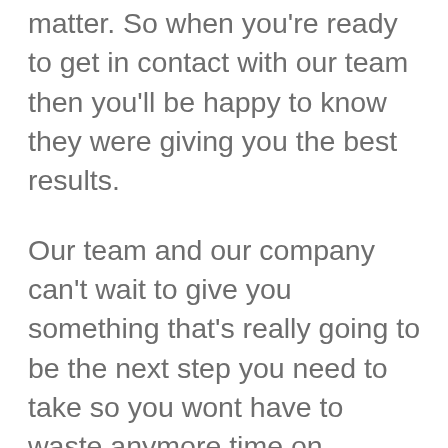matter. So when you're ready to get in contact with our team then you'll be happy to know they were giving you the best results.
Our team and our company can't wait to give you something that's really going to be the next step you need to take so you wont have to waste anymore time on marketing agency services. We want to give you a team in a company that's really going to show you that when you're looking for quality and your really can it be happy to know that were giving you a great place to find that were can it be the difference in what you're looking for today.